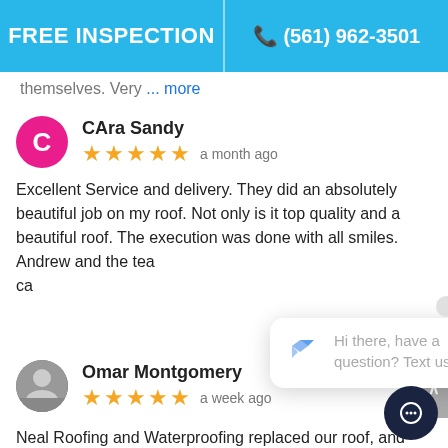FREE INSPECTION | (561) 962-3501
themselves. Very ... more
CAra Sandy
★★★★★ a month ago
Excellent Service and delivery. They did an absolutely beautiful job on my roof. Not only is it top quality and a beautiful roof. The execution was done with all smiles. Andrew and the tea... ca...
Hi there, have a question? Text us here.
Omar Montgomery
★★★★★ a week ago
Neal Roofing and Waterproofing replaced our roof, and we are quite